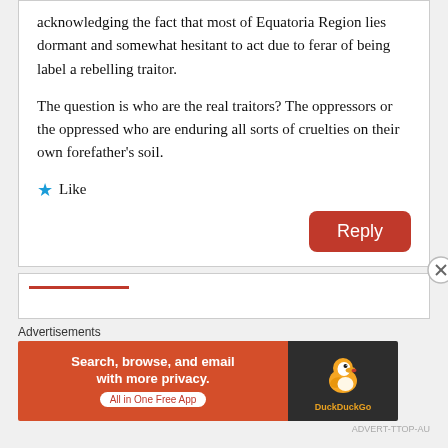acknowledging the fact that most of Equatoria Region lies dormant and somewhat hesitant to act due to ferar of being label a rebelling traitor.
The question is who are the real traitors? The oppressors or the oppressed who are enduring all sorts of cruelties on their own forefather's soil.
★ Like
[Figure (other): Red rounded rectangle Reply button]
[Figure (other): Close circle icon (X) in top right of second comment box]
Advertisements
[Figure (other): DuckDuckGo advertisement banner: 'Search, browse, and email with more privacy. All in One Free App' on orange background with DuckDuckGo duck logo on dark background]